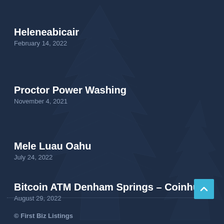Heleneabicair
February 14, 2022
Proctor Power Washing
November 4, 2021
Mele Luau Oahu
July 24, 2022
Bitcoin ATM Denham Springs – Coinhub
August 29, 2022
© First Biz Listings